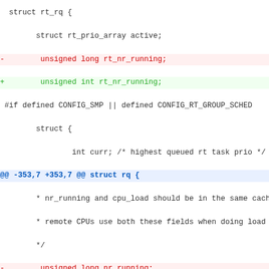Code diff showing changes to rt_rq struct and related scheduler fields in Linux kernel source, including unsigned long to unsigned int type changes for rt_nr_running and nr_running, and addition of group_balance_cpu extern declaration.